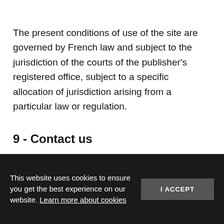The present conditions of use of the site are governed by French law and subject to the jurisdiction of the courts of the publisher's registered office, subject to a specific allocation of jurisdiction arising from a particular law or regulation.
9 - Contact us
For any question, information on the products presented on the site, or concerning the site itself, you can leave a message at the following address:
This website uses cookies to ensure you get the best experience on our website. Learn more about cookies